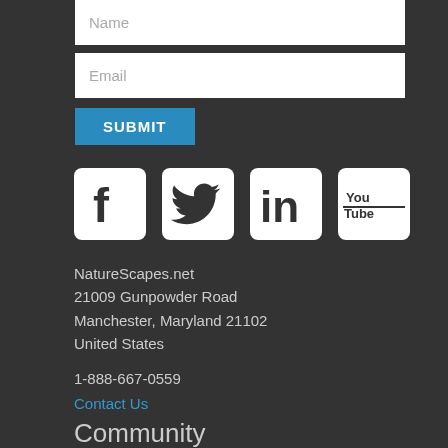[Figure (screenshot): Form with Name and Email input fields and a blue SUBMIT button]
[Figure (infographic): Social media icons: Facebook, Twitter, LinkedIn, YouTube]
NatureScapes.net
21009 Gunpowder Road
Manchester, Maryland 21102
United States
1-888-667-0559
Contact Us
Community